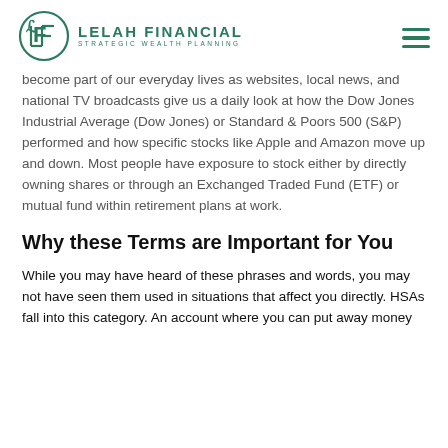LELAH FINANCIAL — STRATEGIC WEALTH PLANNING
become part of our everyday lives as websites, local news, and national TV broadcasts give us a daily look at how the Dow Jones Industrial Average (Dow Jones) or Standard & Poors 500 (S&P) performed and how specific stocks like Apple and Amazon move up and down. Most people have exposure to stock either by directly owning shares or through an Exchanged Traded Fund (ETF) or mutual fund within retirement plans at work.
Why these Terms are Important for You
While you may have heard of these phrases and words, you may not have seen them used in situations that affect you directly. HSAs fall into this category. An account where you can put away money